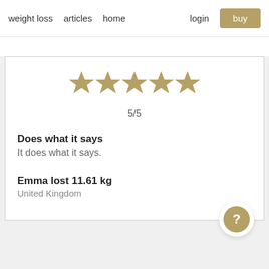weight loss   articles   home   login   buy
[Figure (other): Five gold star rating icons]
5/5
Does what it says
It does what it says.
Emma lost 11.61 kg
United Kingdom